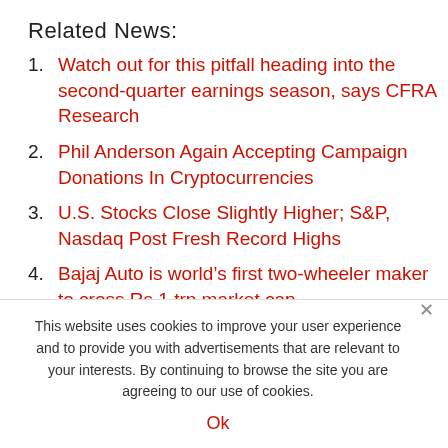Related News:
Watch out for this pitfall heading into the second-quarter earnings season, says CFRA Research
Phil Anderson Again Accepting Campaign Donations In Cryptocurrencies
U.S. Stocks Close Slightly Higher; S&P, Nasdaq Post Fresh Record Highs
Bajaj Auto is world’s first two-wheeler maker to cross Rs 1 trn market cap
Bankers at Goldman Sachs reap rewards as profits ...
This website uses cookies to improve your user experience and to provide you with advertisements that are relevant to your interests. By continuing to browse the site you are agreeing to our use of cookies.
Ok